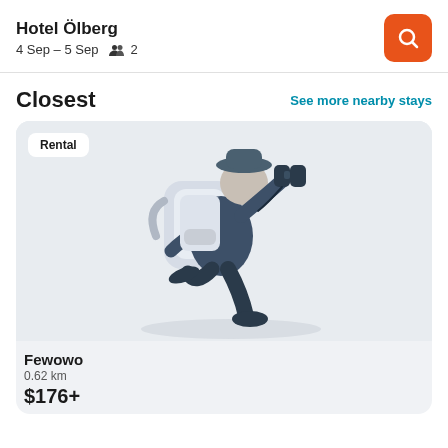Hotel Ölberg
4 Sep – 5 Sep   2
Closest
See more nearby stays
[Figure (illustration): Illustration of a traveler with a backpack looking through binoculars, rendered in flat shades of blue-gray. A 'Rental' badge appears in the top-left corner of the card.]
Fewowo
0.62 km
$176+